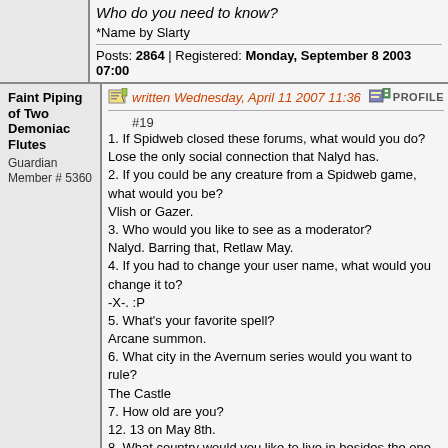Who do you need to know?
*Name by Slarty
Posts: 2864 | Registered: Monday, September 8 2003 07:00
Faint Piping of Two Demoniac Flutes
Guardian
Member # 5360
written Wednesday, April 11 2007 11:36
#19
1. If Spidweb closed these forums, what would you do? Lose the only social connection that Nalyd has.
2. If you could be any creature from a Spidweb game, what would you be?
Vlish or Gazer.
3. Who would you like to see as a moderator?
Nalyd. Barring that, Retlaw May.
4. If you had to change your user name, what would you change it to?
-X-. :P
5. What's your favorite spell?
Arcane summon.
6. What city in the Avernum series would you want to rule?
The Castle
7. How old are you?
12. 13 on May 8th.
8. What country would you like to live in besides the one you're in already?
Canada.
9. Your favorite Spidweb game is...
Geneforge 4.
10. Am I annoying?